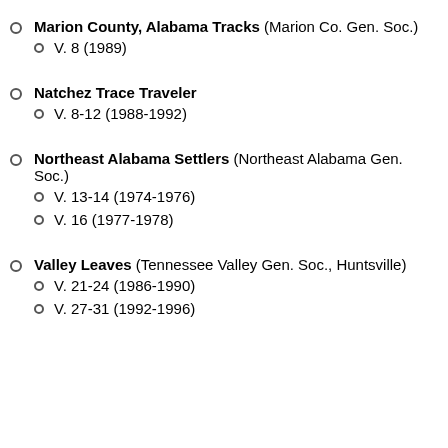Marion County, Alabama Tracks (Marion Co. Gen. Soc.)
  V. 8 (1989)
Natchez Trace Traveler
  V. 8-12 (1988-1992)
Northeast Alabama Settlers (Northeast Alabama Gen. Soc.)
  V. 13-14 (1974-1976)
  V. 16 (1977-1978)
Valley Leaves (Tennessee Valley Gen. Soc., Huntsville)
  V. 21-24 (1986-1990)
  V. 27-31 (1992-1996)